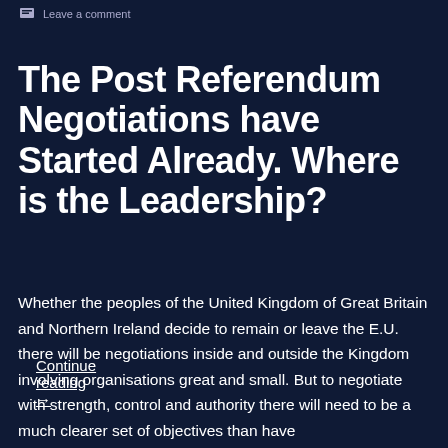Leave a comment
The Post Referendum Negotiations have Started Already. Where is the Leadership?
Whether the peoples of the United Kingdom of Great Britain and Northern Ireland decide to remain or leave the E.U. there will be negotiations inside and outside the Kingdom involving organisations great and small.  But to negotiate with strength, control and authority there will need to be a much clearer set of objectives than have
Continue reading →